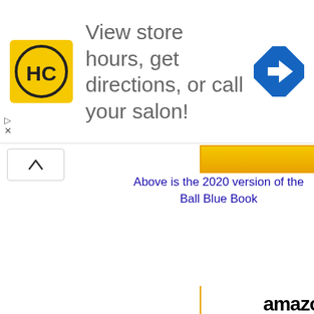[Figure (infographic): Advertisement banner: HC logo (yellow square with HC letters), text 'View store hours, get directions, or call your salon!', blue diamond navigation arrow icon on right, with play and close (X) controls at bottom left]
[Figure (other): Chevron/up-arrow button (scroll control)]
Above is the 2020 version of the Ball Blue Book
[Figure (infographic): Amazon advertisement widget showing 'The Backyard Homestead:...' book cover with price $16.59, Prime badge, and 'Shop now' button with Amazon logo]